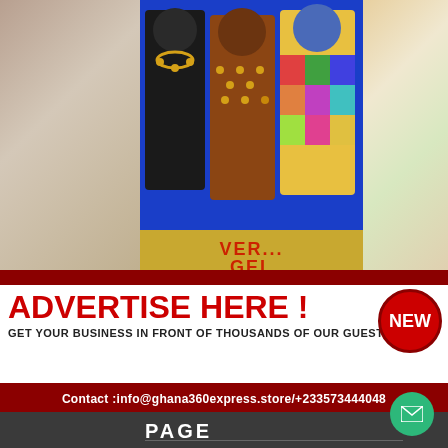[Figure (photo): Top banner area showing colorful African-style clothing on blue background with 'SHOP NOW' text and 'tryahu.com' URL, flanked by food/vegetable photos on sides]
[Figure (infographic): Advertisement banner: 'ADVERTISE HERE!' in red bold text with 'NEW' red circle badge. Tagline: 'GET YOUR BUSINESS IN FRONT OF THOUSANDS OF OUR GUESTS'. Contact bar: 'Contact :info@ghana360express.store/+233573444048']
PAGE
ABOUT US